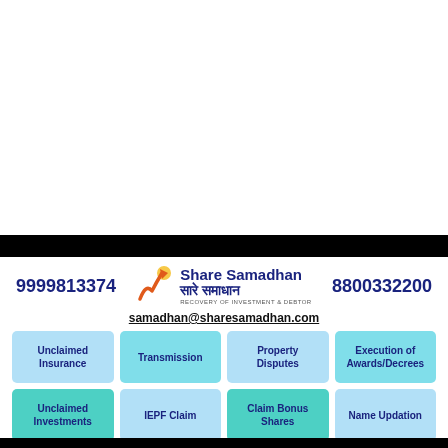[Figure (logo): Share Samadhan logo with stylized W/arrow chart icon, company name in English and Hindi, tagline RECOVERY OF INVESTMENT & DEBTOR]
9999813374
8800332200
samadhan@sharesamadhan.com
Unclaimed Insurance
Transmission
Property Disputes
Execution of Awards/Decrees
Unclaimed Investments
IEPF Claim
Claim Bonus Shares
Name Updation
Lost Shares
Succession Certificate
Debt Recovery
Litigation Funding
IEPF Rejections
Signature Mismatch
PF Recovery
Mutual Fund